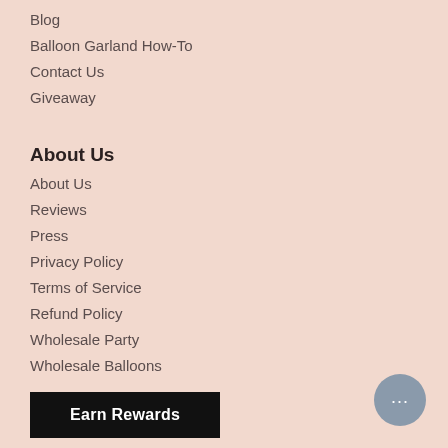Blog
Balloon Garland How-To
Contact Us
Giveaway
About Us
About Us
Reviews
Press
Privacy Policy
Terms of Service
Refund Policy
Wholesale Party
Wholesale Balloons
Earn Rewards